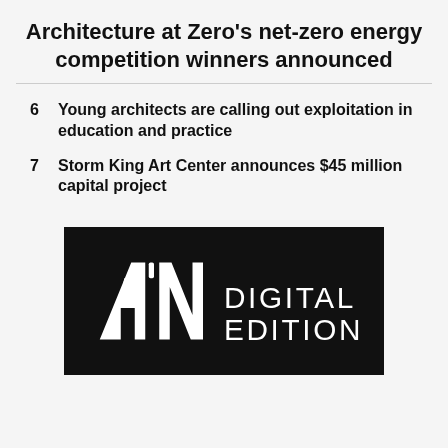Architecture at Zero's net-zero energy competition winners announced
6  Young architects are calling out exploitation in education and practice
7  Storm King Art Center announces $45 million capital project
[Figure (logo): A'N Digital Edition logo — white text and stylized A'N lettermark on black background]